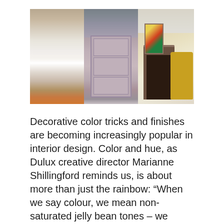[Figure (photo): Three-panel photo collage of interior design rooms: left panel shows a bedroom with warm textile headboard and white bedding; center panel shows mauve/dusty rose double doors with decorative paneling; right panel shows a living room with fireplace, yellow armchair, and colorful artwork.]
Decorative color tricks and finishes are becoming increasingly popular in interior design. Color and hue, as Dulux creative director Marianne Shillingford reminds us, is about more than just the rainbow: “When we say colour, we mean non-saturated jelly bean tones – we mean color and hue in all its glory, made from organic Waste. Whites ...